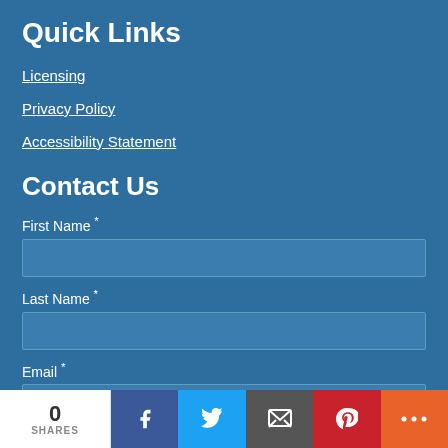Quick Links
Licensing
Privacy Policy
Accessibility Statement
Contact Us
First Name *
Last Name *
Email *
0 SHARES  Facebook  Twitter  Email  Pinterest  More